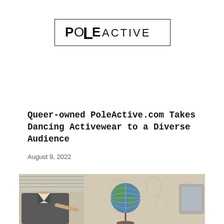[Figure (logo): PoleActive logo: bold text 'POLE' followed by 'ACTIVE' in lighter weight, inside a rectangular border]
Queer-owned PoleActive.com Takes Dancing Activewear to a Diverse Audience
August 9, 2022
[Figure (photo): Photograph showing a person on the left side, a decorative globe on a stand in the center, and additional elements on the right, against a patterned wallpaper background]